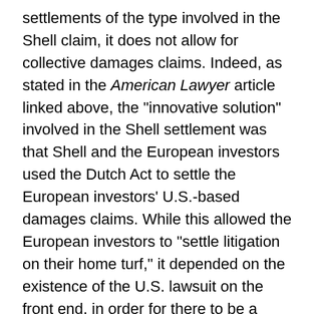settlements of the type involved in the Shell claim, it does not allow for collective damages claims. Indeed, as stated in the American Lawyer article linked above, the "innovative solution" involved in the Shell settlement was that Shell and the European investors used the Dutch Act to settle the European investors' U.S.-based damages claims. While this allowed the European investors to "settle litigation on their home turf," it depended on the existence of the U.S. lawsuit on the front end, in order for there to be a Dutch settlement on the back end.
The Shell settlement basically represented an innovation, but the ability for other litigants to use the Shell settlement itself as a model will largely depend on the existence of a similar combination of